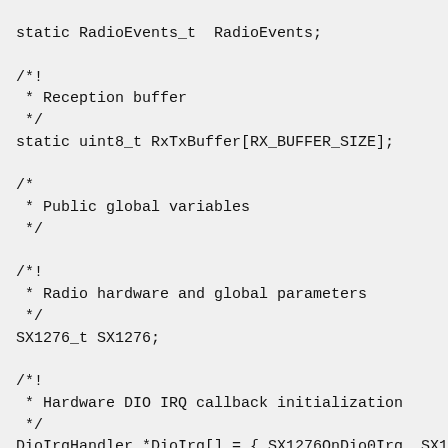static RadioEvents_t RadioEvents;

/*!
 * Reception buffer
 */
static uint8_t RxTxBuffer[RX_BUFFER_SIZE];

/*
 * Public global variables
 */

/*!
 * Radio hardware and global parameters
 */
SX1276_t SX1276;

/*!
 * Hardware DIO IRQ callback initialization
 */
DioIrqHandler *DioIrq[] = { SX1276OnDio0Irq, SX12
                            SX1276OnDio2Irq, SX12
                            SX1276OnDio4Irq, NULL